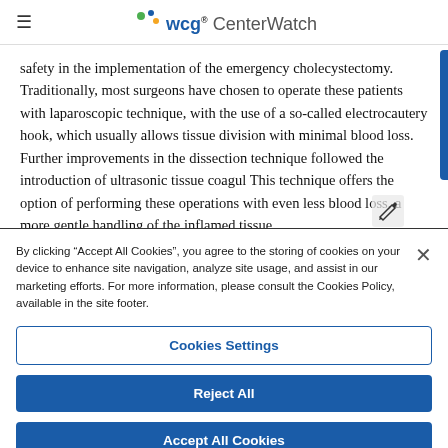wcg CenterWatch
safety in the implementation of the emergency cholecystectomy. Traditionally, most surgeons have chosen to operate these patients with laparoscopic technique, with the use of a so-called electrocautery hook, which usually allows tissue division with minimal blood loss. Further improvements in the dissection technique followed the introduction of ultrasonic tissue coagul This technique offers the option of performing these operations with even less blood loss, a more gentle handling of the inflamed tissue
By clicking “Accept All Cookies”, you agree to the storing of cookies on your device to enhance site navigation, analyze site usage, and assist in our marketing efforts. For more information, please consult the Cookies Policy, available in the site footer.
Cookies Settings
Reject All
Accept All Cookies